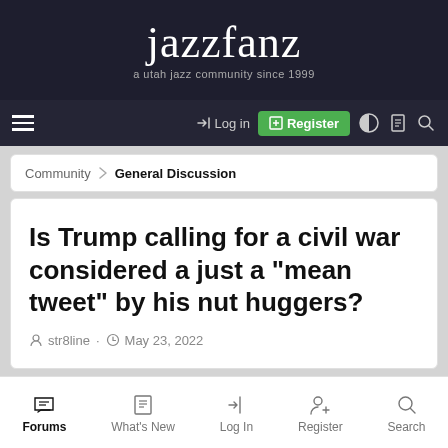jazzfanz — a utah jazz community since 1999
[Figure (screenshot): Navigation bar with hamburger menu, Log in, Register (green button), and icons]
Community > General Discussion
Is Trump calling for a civil war considered a just a "mean tweet" by his nut huggers?
str8line · May 23, 2022
Forums | What's New | Log In | Register | Search